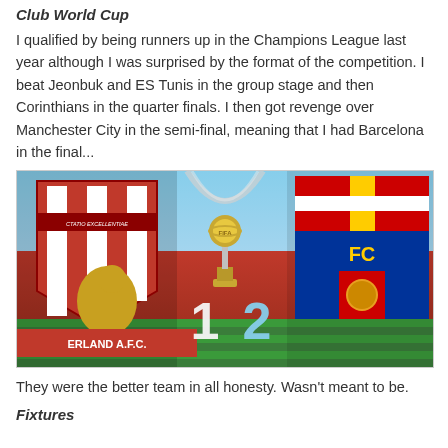Club World Cup
I qualified by being runners up in the Champions League last year although I was surprised by the format of the competition. I beat Jeonbuk and ES Tunis in the group stage and then Corinthians in the quarter finals. I then got revenge over Manchester City in the semi-final, meaning that I had Barcelona in the final...
[Figure (photo): Match graphic showing Sunderland AFC vs FC Barcelona in the FIFA Club World Cup final, score 1-2, with the FIFA Club World Cup trophy in the background and a stadium setting.]
They were the better team in all honesty. Wasn't meant to be.
Fixtures